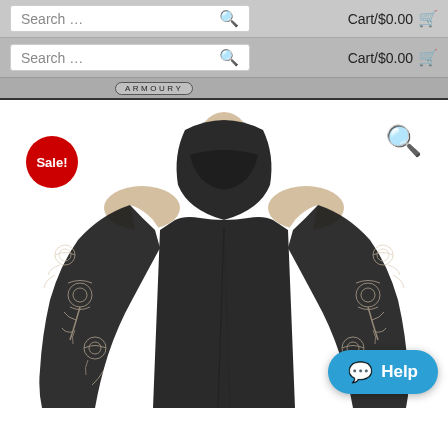Search ... Cart/$0.00
Search ... Cart/$0.00
[Figure (photo): Black cold-shoulder top with lace sleeves and turtleneck cowl, shown on a mannequin, with a red Sale! badge, magnifier icon, and Help chat button overlay]
Sale!
Help